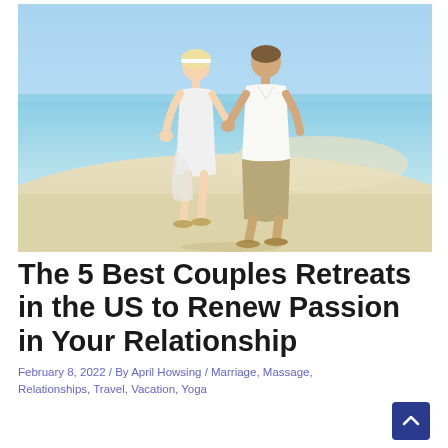[Figure (photo): A couple walking hand-in-hand on a tropical beach. The woman wears a white dress and headband, the man wears a white shirt and khaki cropped pants. The beach has white sand and clear turquoise water.]
The 5 Best Couples Retreats in the US to Renew Passion in Your Relationship
February 8, 2022 / By April Howsing / Marriage, Massage, Relationships, Travel, Vacation, Yoga